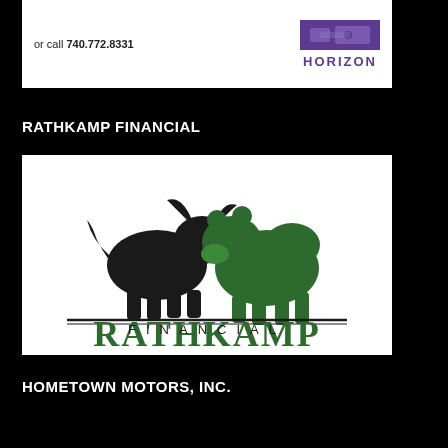[Figure (logo): Top white box showing 'or call 740.772.8331' on left and HORIZON logo (purple rectangle icon above HORIZON text) on right]
RATHKAMP FINANCIAL
[Figure (logo): Rathkamp Financial logo: black bull and green bear facing each other above horizontal lines, with 'RATHKAMP' in large green serif letters and 'FINANCIAL' in smaller spaced letters below]
HOMETOWN MOTORS, INC.